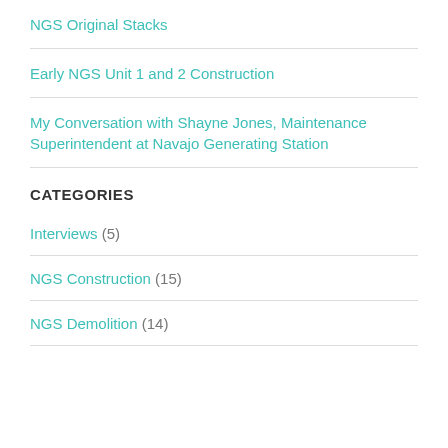NGS Original Stacks
Early NGS Unit 1 and 2 Construction
My Conversation with Shayne Jones, Maintenance Superintendent at Navajo Generating Station
CATEGORIES
Interviews (5)
NGS Construction (15)
NGS Demolition (14)